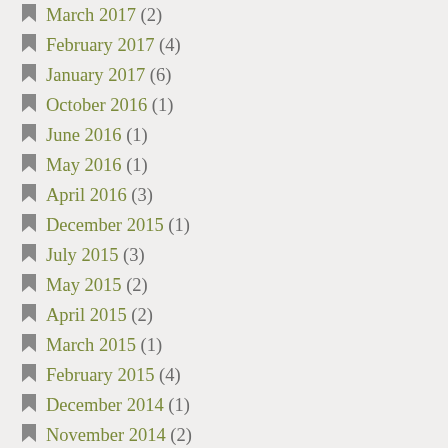March 2017 (2)
February 2017 (4)
January 2017 (6)
October 2016 (1)
June 2016 (1)
May 2016 (1)
April 2016 (3)
December 2015 (1)
July 2015 (3)
May 2015 (2)
April 2015 (2)
March 2015 (1)
February 2015 (4)
December 2014 (1)
November 2014 (2)
October 2014 (6)
September 2014 (2)
August 2014 (2)